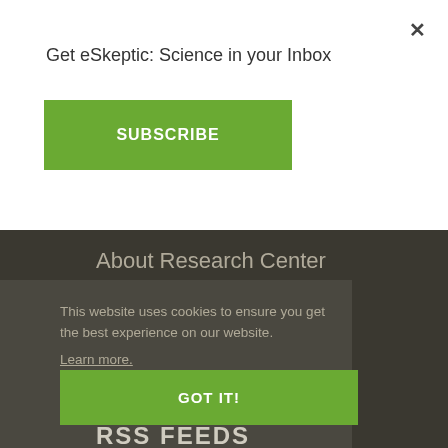Get eSkeptic: Science in your Inbox
×
SUBSCRIBE
About Research Center
Meet the Researchers
Become Involved
This website uses cookies to ensure you get the best experience on our website. Learn more.
GOT IT!
RSS FEEDS